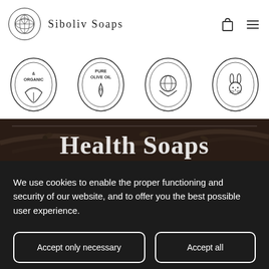Siboliv Soaps
[Figure (illustration): Four circular badge icons: & Organic (leaf/plant design), Pure Olive Oil (olive drop design), globe with hands design, rabbit/cruelty-free design]
[Figure (photo): Dark background photo of olive branches and olives with large text 'Health Soaps' overlaid in white serif font]
We use cookies to enable the proper functioning and security of our website, and to offer you the best possible user experience.
Accept only necessary
Accept all